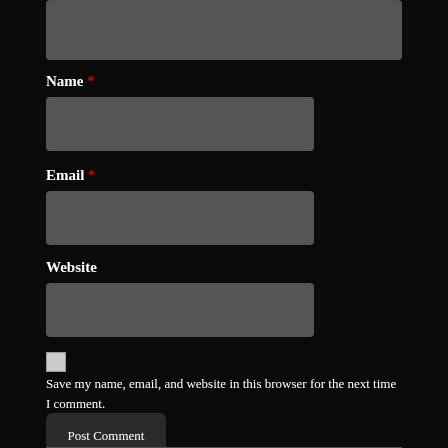[Figure (screenshot): Top portion of a comment form text area (truncated at top), dark gray background input field]
Name *
[Figure (screenshot): Name input field, dark gray rectangular input box]
Email *
[Figure (screenshot): Email input field, dark gray rectangular input box]
Website
[Figure (screenshot): Website input field, dark gray rectangular input box]
Save my name, email, and website in this browser for the next time I comment.
Post Comment